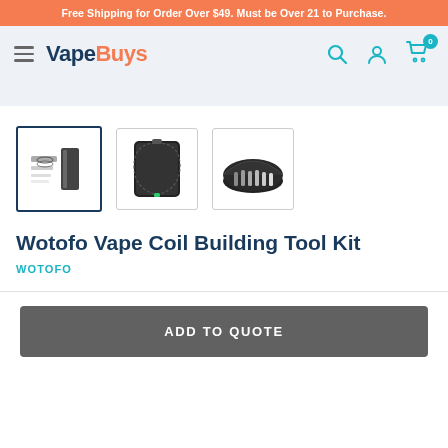Free Shipping for Order Over $49. Must be Over 21 to Purchase.
[Figure (logo): VapeBuys logo with hamburger menu, search icon, user icon, and cart icon with 0 badge]
[Figure (photo): Three product thumbnail images of Wotofo Vape Coil Building Tool Kit - showing the tools, closed case, and open case]
Wotofo Vape Coil Building Tool Kit
WOTOFO
ADD TO QUOTE